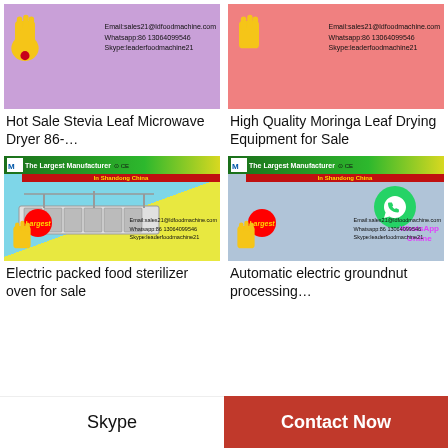[Figure (photo): Product ad image for Hot Sale Stevia Leaf Microwave Dryer with contact info on purple/pink background]
Hot Sale Stevia Leaf Microwave Dryer 86-…
[Figure (photo): Product ad image for High Quality Moringa Leaf Drying Equipment on pink background]
High Quality Moringa Leaf Drying Equipment for Sale
[Figure (photo): Electric packed food sterilizer oven machine ad with The Largest Manufacturer In Shandong China banner]
Electric packed food sterilizer oven for sale
[Figure (photo): Automatic electric groundnut processing machine ad with WhatsApp Online overlay]
Automatic electric groundnut processing…
Skype    Contact Now